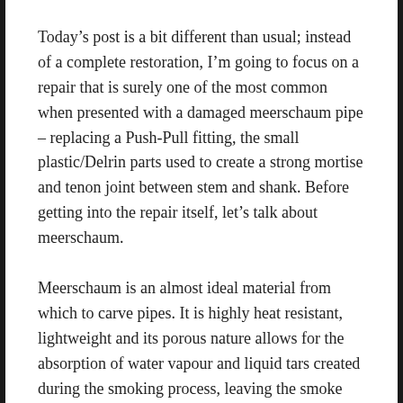Today's post is a bit different than usual; instead of a complete restoration, I'm going to focus on a repair that is surely one of the most common when presented with a damaged meerschaum pipe – replacing a Push-Pull fitting, the small plastic/Delrin parts used to create a strong mortise and tenon joint between stem and shank. Before getting into the repair itself, let's talk about meerschaum.
Meerschaum is an almost ideal material from which to carve pipes. It is highly heat resistant, lightweight and its porous nature allows for the absorption of water vapour and liquid tars created during the smoking process, leaving the smoke stream dry and cool. Meerschaum's major limitation is durability. It is easily cracked.